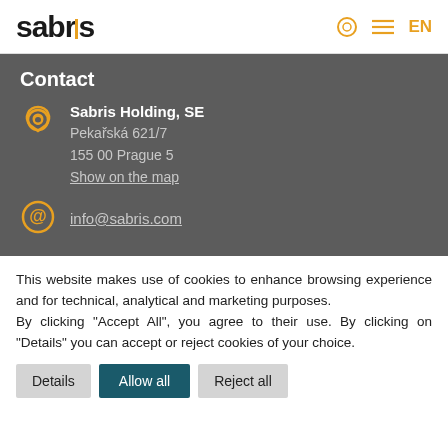sabris EN
Contact
Sabris Holding, SE
Pekařská 621/7
155 00 Prague 5
Show on the map
info@sabris.com
This website makes use of cookies to enhance browsing experience and for technical, analytical and marketing purposes.
By clicking "Accept All", you agree to their use. By clicking on "Details" you can accept or reject cookies of your choice.
Details | Allow all | Reject all